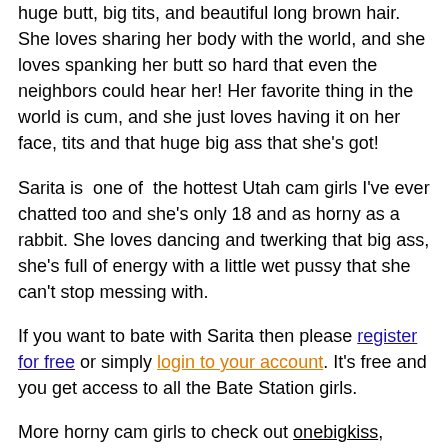huge butt, big tits, and beautiful long brown hair. She loves sharing her body with the world, and she loves spanking her butt so hard that even the neighbors could hear her! Her favorite thing in the world is cum, and she just loves having it on her face, tits and that huge big ass that she's got!
Sarita is  one of  the hottest Utah cam girls I've ever chatted too and she's only 18 and as horny as a rabbit. She loves dancing and twerking that big ass, she's full of energy with a little wet pussy that she can't stop messing with.
If you want to bate with Sarita then please register for free or simply login to your account. It's free and you get access to all the Bate Station girls.
More horny cam girls to check out onebigkiss, ginger_soulz, girlfriendcutie, annahasataco, lusycandy